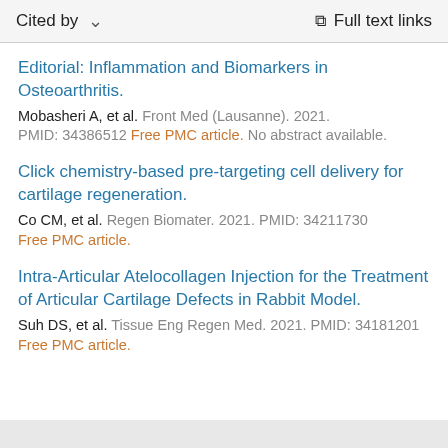Cited by  ∨  Full text links
Editorial: Inflammation and Biomarkers in Osteoarthritis.
Mobasheri A, et al. Front Med (Lausanne). 2021.
PMID: 34386512 Free PMC article. No abstract available.
Click chemistry-based pre-targeting cell delivery for cartilage regeneration.
Co CM, et al. Regen Biomater. 2021. PMID: 34211730
Free PMC article.
Intra-Articular Atelocollagen Injection for the Treatment of Articular Cartilage Defects in Rabbit Model.
Suh DS, et al. Tissue Eng Regen Med. 2021. PMID: 34181201
Free PMC article.